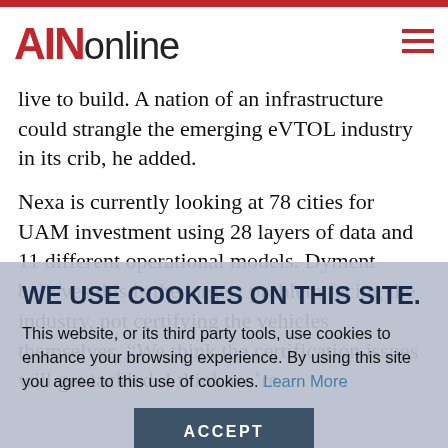AINonline
live to build. nation of an infrastructure could strangle the emerging eVTOL industry in its crib, he added.
Nexa is currently looking at 78 cities for UAM investment using 28 layers of data and 11 different operational models. Dyment believes this is the largest problem facing the industry, not certifying the vehicles themselves. “We think the certification issues will get tackled. I think we’re
WE USE COOKIES ON THIS SITE.
This website, or its third party tools, use cookies to enhance your browsing experience. By using this site you agree to this use of cookies. Learn More
ACCEPT